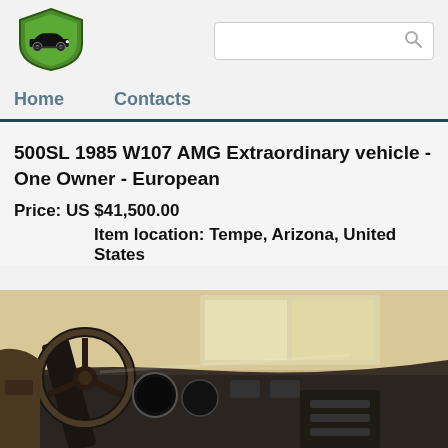[Figure (logo): Classic car dealer logo: green shield with vintage car silhouette]
Home   Contacts
500SL 1985 W107 AMG Extraordinary vehicle - One Owner - European
Price: US $41,500.00
Item location: Tempe, Arizona, United States
[Figure (photo): Interior view of the car showing the dashboard, steering wheel, and instrument panel]